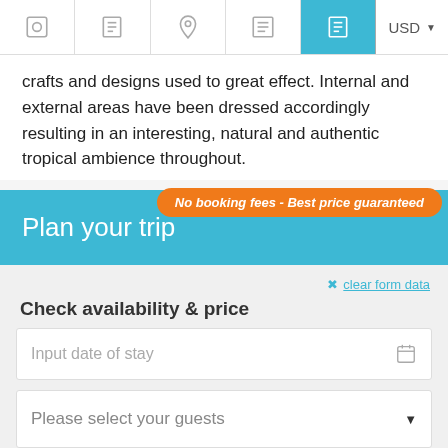Navigation bar with icons and USD currency selector
crafts and designs used to great effect. Internal and external areas have been dressed accordingly resulting in an interesting, natural and authentic tropical ambience throughout.
[Figure (screenshot): Orange badge with italic text: No booking fees - Best price guaranteed]
Plan your trip
✕ clear form data
Check availability & price
Input date of stay
Please select your guests